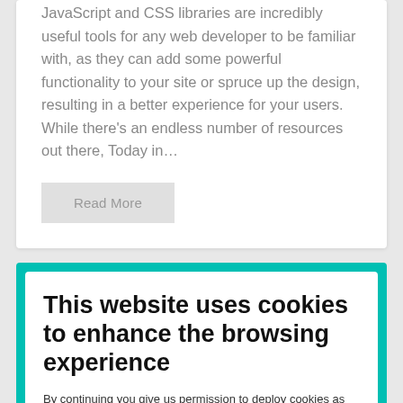JavaScript and CSS libraries are incredibly useful tools for any web developer to be familiar with, as they can add some powerful functionality to your site or spruce up the design, resulting in a better experience for your users. While there's an endless number of resources out there, Today in…
Read More
This website uses cookies to enhance the browsing experience
By continuing you give us permission to deploy cookies as per our
privacy and cookies policy.
I UNDERSTAND